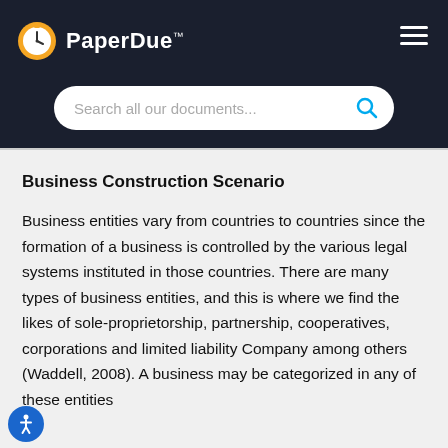PaperDue™ — Search all our documents...
Business Construction Scenario
Business entities vary from countries to countries since the formation of a business is controlled by the various legal systems instituted in those countries. There are many types of business entities, and this is where we find the likes of sole-proprietorship, partnership, cooperatives, corporations and limited liability Company among others (Waddell, 2008). A business may be categorized in any of these entities